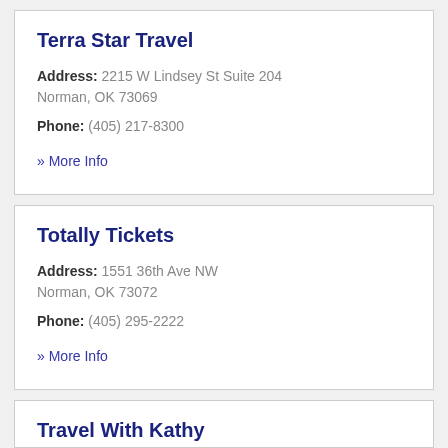Terra Star Travel
Address: 2215 W Lindsey St Suite 204 Norman, OK 73069
Phone: (405) 217-8300
» More Info
Totally Tickets
Address: 1551 36th Ave NW Norman, OK 73072
Phone: (405) 295-2222
» More Info
Travel With Kathy